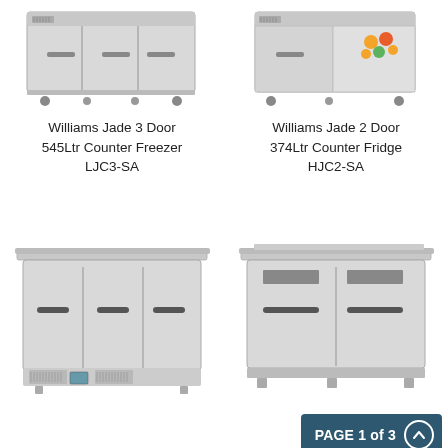[Figure (photo): Williams Jade 3 Door 545Ltr Counter Freezer LJC3-SA product photo, stainless steel unit with three doors and wheels]
Williams Jade 3 Door 545Ltr Counter Freezer LJC3-SA
[Figure (photo): Williams Jade 2 Door 374Ltr Counter Fridge HJC2-SA product photo, stainless steel unit with two doors and open door showing fruit]
Williams Jade 2 Door 374Ltr Counter Fridge HJC2-SA
[Figure (photo): Three door counter refrigeration unit with saladette top, stainless steel, bottom row left]
[Figure (photo): Two door counter refrigeration unit with saladette top, stainless steel, bottom row right]
PAGE 1 of 3